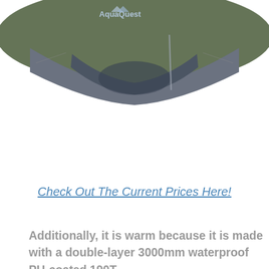[Figure (photo): Partial view of a green and grey camping tent with a logo (AquaQuest or similar) visible at the top, photographed against a white background.]
Check Out The Current Prices Here!
Additionally, it is warm because it is made with a double-layer 3000mm waterproof PU-coated 190T